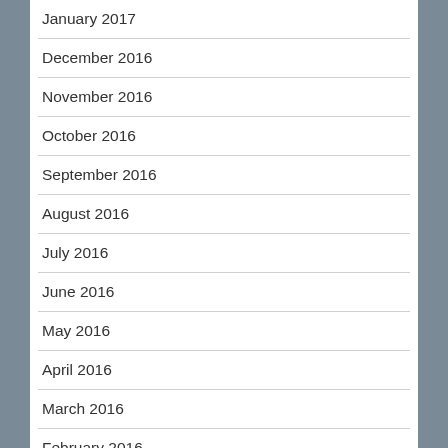January 2017
December 2016
November 2016
October 2016
September 2016
August 2016
July 2016
June 2016
May 2016
April 2016
March 2016
February 2016